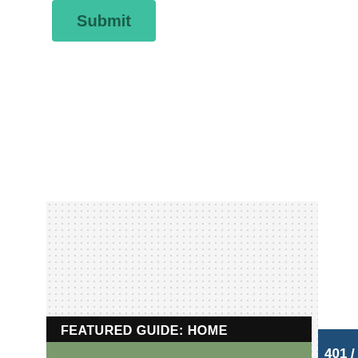[Figure (screenshot): A green 'Submit' button with bold dark green text]
[Figure (screenshot): A browser screenshot showing a dotted/checkered background on the left and a partially visible 401 / UNAUTHORIZED error page on the right. The error page has a dark blue header bar with white text '401 / UNAUTHORIZED', a red X icon, a light blue 'Error D' panel header, and white text body reading 'The re... not be... becau... addres... (34.20...']
[Figure (screenshot): A black banner with white bold text reading 'FEATURED GUIDE: HOME' followed by a partial photo of a house/home at the bottom edge]